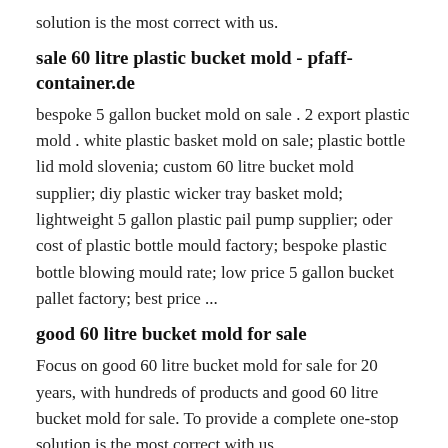solution is the most correct with us.
sale 60 litre plastic bucket mold - pfaff-container.de
bespoke 5 gallon bucket mold on sale . 2 export plastic mold . white plastic basket mold on sale; plastic bottle lid mold slovenia; custom 60 litre bucket mold supplier; diy plastic wicker tray basket mold; lightweight 5 gallon plastic pail pump supplier; oder cost of plastic bottle mould factory; bespoke plastic bottle blowing mould rate; low price 5 gallon bucket pallet factory; best price ...
good 60 litre bucket mold for sale
Focus on good 60 litre bucket mold for sale for 20 years, with hundreds of products and good 60 litre bucket mold for sale. To provide a complete one-stop solution is the most correct with us.
60 litre food grade bucket mold manufacturer
Focus on 60 litre food grade bucket mold manufacturer for